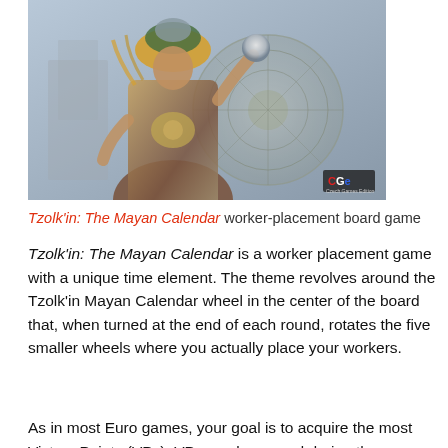[Figure (illustration): Illustrated artwork of a Mayan warrior/deity figure in ornate costume holding a glowing orb, with a large Aztec/Mayan calendar stone wheel behind him. CGe (Czech Games Edition) logo badge in the lower right corner.]
Tzolk'in: The Mayan Calendar worker-placement board game
Tzolk'in: The Mayan Calendar is a worker placement game with a unique time element. The theme revolves around the Tzolk'in Mayan Calendar wheel in the center of the board that, when turned at the end of each round, rotates the five smaller wheels where you actually place your workers.
As in most Euro games, your goal is to acquire the most Victory Points (VPs). VPs can be scored during the